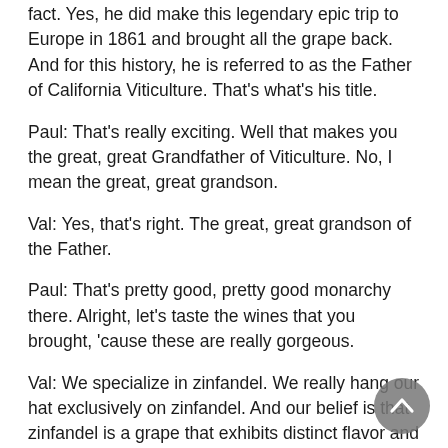fact. Yes, he did make this legendary epic trip to Europe in 1861 and brought all the grape back. And for this history, he is referred to as the Father of California Viticulture. That's what's his title.
Paul: That's really exciting. Well that makes you the great, great Grandfather of Viticulture. No, I mean the great, great grandson.
Val: Yes, that's right. The great, great grandson of the Father.
Paul: That's pretty good, pretty good monarchy there. Alright, let's taste the wines that you brought, 'cause these are really gorgeous.
Val: We specialize in zinfandel. We really hang our hat exclusively on zinfandel. And our belief is that zinfandel is a grape that exhibits distinct flavor and aroma, sensory